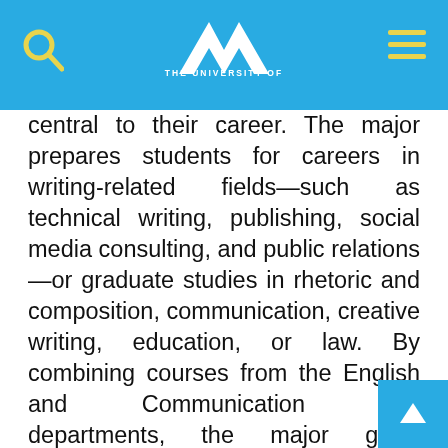THE UNIVERSITY OF ALABAMA IN HUNTSVILLE (UAH)
central to their career. The major prepares students for careers in writing-related fields—such as technical writing, publishing, social media consulting, and public relations—or graduate studies in rhetoric and composition, communication, creative writing, education, or law. By combining courses from the English and Communication Arts departments, the major gives students a comprehensive education in writing and rhetorical theory along with the techniques necessary to craft effective documents in multiple genres. All students take six core courses that instill a firm foundation in writing fundamentals two electives that allow students to customize